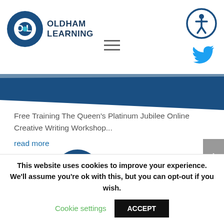[Figure (logo): Oldham Learning logo: dark blue circle with OL letters and a teal dot, next to bold text OLDHAM LEARNING]
[Figure (illustration): Accessibility icon: circle with person/wheelchair symbol]
[Figure (illustration): Twitter bird icon in teal/cyan]
[Figure (illustration): Diagonal dark blue and steel blue banner swoosh across the page]
Free Training The Queen's Platinum Jubilee Online Creative Writing Workshop...
read more
[Figure (illustration): Partial dark blue circle visible at bottom of content area]
[Figure (illustration): Grey scroll-to-top button with upward chevron on right edge]
This website uses cookies to improve your experience. We'll assume you're ok with this, but you can opt-out if you wish.
Cookie settings
ACCEPT